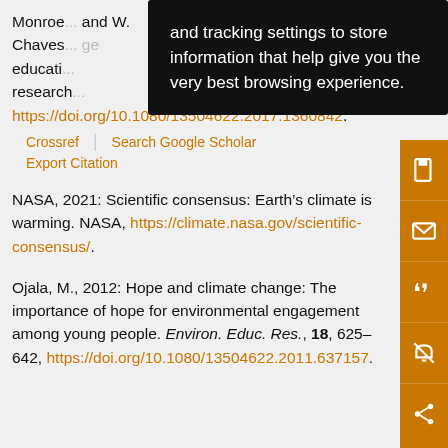Monroe ... and W. Chaves ... ge educati... research...
https://doi.org/10.1080/13504622.2017.1360842.
Crossref | Search Google Scholar
Export Citation
and tracking settings to store information that help give you the very best browsing experience.
NASA, 2021: Scientific consensus: Earth’s climate is warming. NASA, https://climate.nasa.gov/scientific-consensus/.
Ojala, M., 2012: Hope and climate change: The importance of hope for environmental engagement among young people. Environ. Educ. Res., 18, 625–642, https://doi.org/10.1080/13504622.2011.637157.